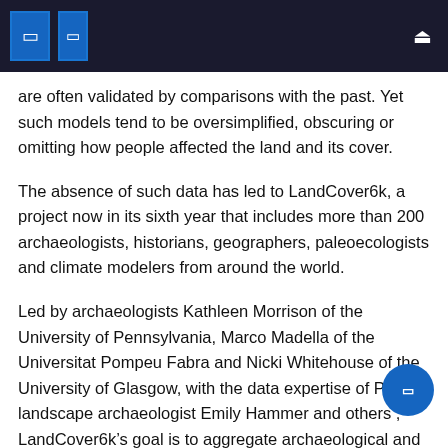are often validated by comparisons with the past. Yet such models tend to be oversimplified, obscuring or omitting how people affected the land and its cover.
The absence of such data has led to LandCover6k, a project now in its sixth year that includes more than 200 archaeologists, historians, geographers, paleoecologists and climate modelers from around the world.
Led by archaeologists Kathleen Morrison of the University of Pennsylvania, Marco Madella of the Universitat Pompeu Fabra and Nicki Whitehouse of the University of Glasgow, with the data expertise of Penn landscape archaeologist Emily Hammer and others , LandCover6k’s goal is to aggregate archaeological and historical evidence of land use systems from four time frames – 12,000 years ago, 6,000 years ago, 4,000 years ago and around the year 1500 – in a single